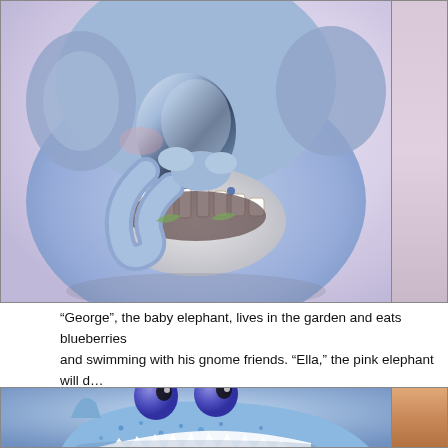[Figure (photo): Close-up photo of a blue ceramic baby elephant figurine with its mouth open, showing painted details. The elephant appears to be holding something. Partial view cropped at top and right.]
“George”, the baby elephant, lives in the garden and eats blueberries and swimming with his gnome friends. “Ella,” the pink elephant will d… can spray water with her trunk, and juggle up to four things at once!
[Figure (photo): Photo of a cute blue ceramic shark figurine with large googly purple eyes and open mouth showing white teeth. The shark has a speckled blue texture. Partial view at bottom of page.]
[Figure (photo): Partial view of another figurine on the right side, showing orange/brown tones.]